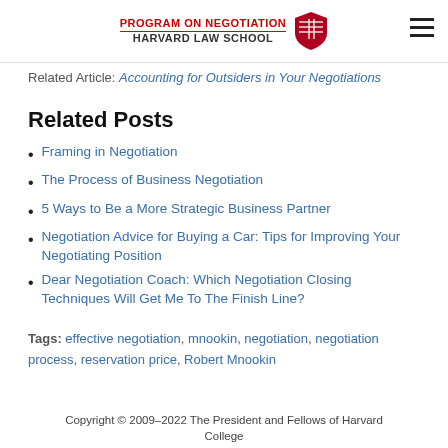Program on Negotiation Harvard Law School
Related Article: Accounting for Outsiders in Your Negotiations
Related Posts
Framing in Negotiation
The Process of Business Negotiation
5 Ways to Be a More Strategic Business Partner
Negotiation Advice for Buying a Car: Tips for Improving Your Negotiating Position
Dear Negotiation Coach: Which Negotiation Closing Techniques Will Get Me To The Finish Line?
Tags: effective negotiation, mnookin, negotiation, negotiation process, reservation price, Robert Mnookin
Copyright © 2009–2022 The President and Fellows of Harvard College